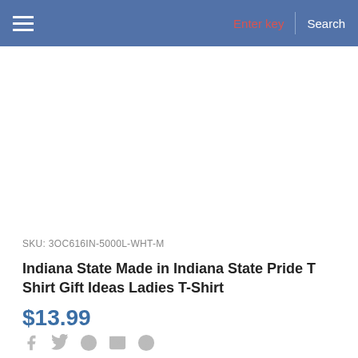Enter key | Search
SKU: 3OC616IN-5000L-WHT-M
Indiana State Made in Indiana State Pride T Shirt Gift Ideas Ladies T-Shirt
$13.99